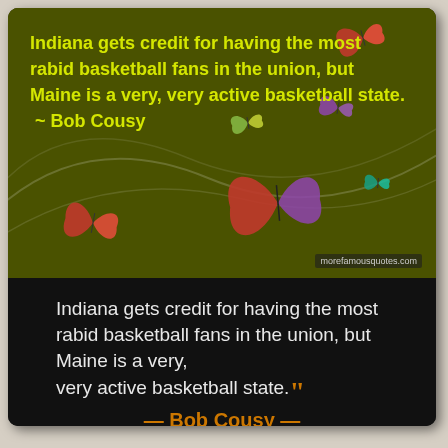[Figure (illustration): Dark olive-green background with decorative swirling white lines and colorful butterfly illustrations (red, orange, teal, purple). Quote text in yellow-green bold font overlaid on the image.]
Indiana gets credit for having the most rabid basketball fans in the union, but Maine is a very, very active basketball state. — Bob Cousy —